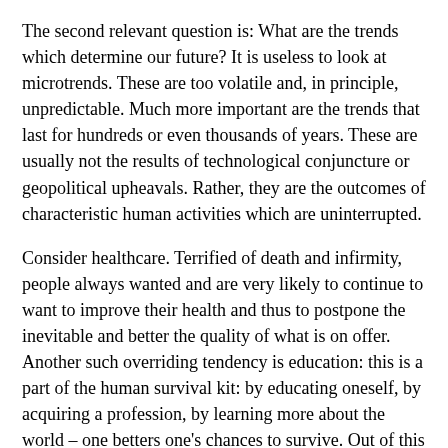The second relevant question is: What are the trends which determine our future? It is useless to look at microtrends. These are too volatile and, in principle, unpredictable. Much more important are the trends that last for hundreds or even thousands of years. These are usually not the results of technological conjuncture or geopolitical upheavals. Rather, they are the outcomes of characteristic human activities which are uninterrupted.
Consider healthcare. Terrified of death and infirmity, people always wanted and are very likely to continue to want to improve their health and thus to postpone the inevitable and better the quality of what is on offer. Another such overriding tendency is education: this is a part of the human survival kit: by educating oneself, by acquiring a profession, by learning more about the world – one betters one's chances to survive. Out of this set of human, almost deterministic activities, a group of overriding trends emerges:
Enhanced Mobility